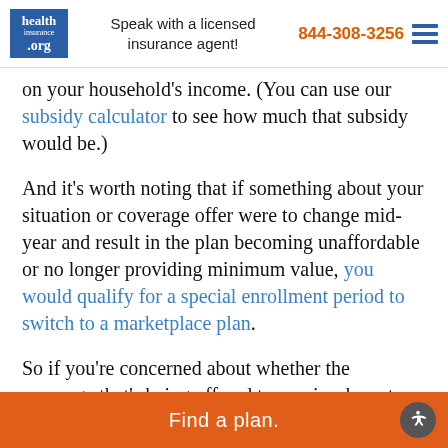health insurance .org | Speak with a licensed insurance agent! | 844-308-3256
on your household's income. (You can use our subsidy calculator to see how much that subsidy would be.)
And it's worth noting that if something about your situation or coverage offer were to change mid-year and result in the plan becoming unaffordable or no longer providing minimum value, you would qualify for a special enrollment period to switch to a marketplace plan.
So if you're concerned about whether the coverage that's being offered to you is adequate, it's absolutely in your best interest to ask your employer to complete the employer coverage information form.
Find a plan.